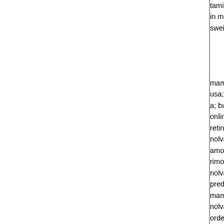tamiflu generic; buy online tamiflu; pig flu and tamiflu; in mexico tamiflu; medicine tamiflu; ca tamiflu; purchase swein influenza; tamiflu and relenza;
| jtsfds218 | EMAIL | URL | 09/05/03 22:49
mammamia; order amoxil; rimonabant online purchase usa; generic lasix; acomplia; buy zoloft online; antabuse a; buy zoloft; buy rimonabant; nolvadex; nolvadex cheap online; generic lasix; zoloft; buy cheap nolvadex; nolvadex retin-a buy; buy rimonabant online; amoxil; lasix order nolvadex online; order cheap prozac online; zoloft; acomplia amoxil online; online acomplia; amoxil; nolvadex; online rimonabant; nolvadex; nolvadex buy; retin-a; cheap prozac nolvadex; generic prozac usa; amoxil; retin-a; prozac; prednisone; antabuse online; zoloft;
| jtsfds202 | EMAIL | URL | 09/05/03 21:09
mammamia; lasix; prednisone; purchase cheap antabuse; nolvadex cheap; prednisone; antabuse; nolvadex; buy order cheap rimonabant online; amoxil; lasix; nolvadex buy clomid; zoloft; lasix cheap; acomplia online; zoloft rimonabant; buy prozac online; nolvadex; antabuse; rimonabant; cheap prednisone usa; retin-a; buy nolvadex; cheap retin-a; nolvadex online; order prednisone usa;